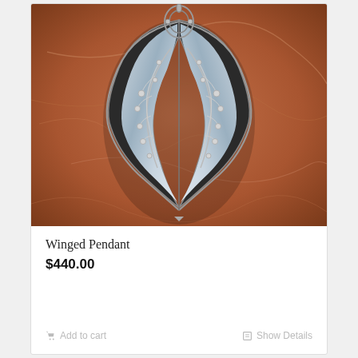[Figure (photo): Close-up photograph of a silver winged pendant jewelry piece with decorative vine and ball details on a reddish-brown marble/stone background]
Winged Pendant
$440.00
Add to cart
Show Details